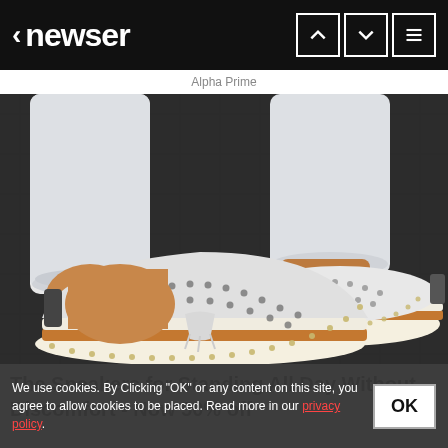< newser
Alpha Prime
[Figure (photo): Close-up photo of a person wearing white jeans and white slip-on sneakers with brown cork-style soles, perforated upper design, and stitched detailing. Two pairs of feet visible on dark pavement.]
The Sneakers for Standing All Day Without Discomfort - Now 50% off
We use cookies. By Clicking "OK" or any content on this site, you agree to allow cookies to be placed. Read more in our privacy policy.